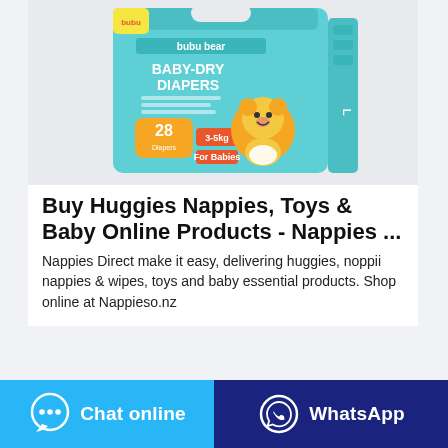[Figure (photo): Product photo of bubu bear Baby-Dry Diapers packaging — a teal/mint colored box with a cartoon bear character, showing '28' count and size L, on a light gray background.]
Buy Huggies Nappies, Toys & Baby Online Products - Nappies ...
Nappies Direct make it easy, delivering huggies, noppii nappies & wipes, toys and baby essential products. Shop online at Nappieso.nz